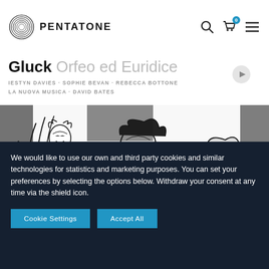PENTATONE
Gluck Orfeo ed Euridice
IESTYN DAVIES · SOPHIE BEVAN · REBECCA BOTTONE · LA NUOVA MUSICA · DAVID BATES
[Figure (illustration): Black and white artistic sketch/illustration showing classical figures with musical instruments, part of the album cover for Gluck Orfeo ed Euridice]
We would like to use our own and third party cookies and similar technologies for statistics and marketing purposes. You can set your preferences by selecting the options below. Withdraw your consent at any time via the shield icon.
Cookie Settings | Accept All